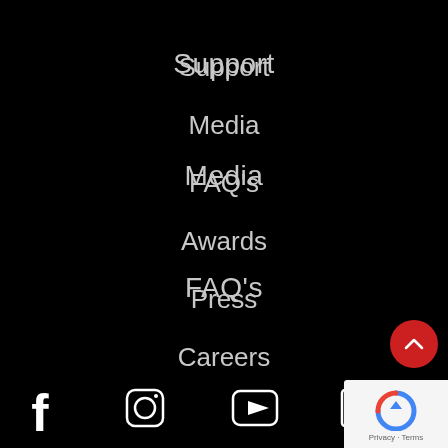Support
Media
FAQ's
Awards
Press
Careers
Contact
[Figure (infographic): Social media icons row: Facebook, Instagram, YouTube, LinkedIn, Twitter (partially visible). Red back-to-top button with chevron. Google reCAPTCHA badge.]